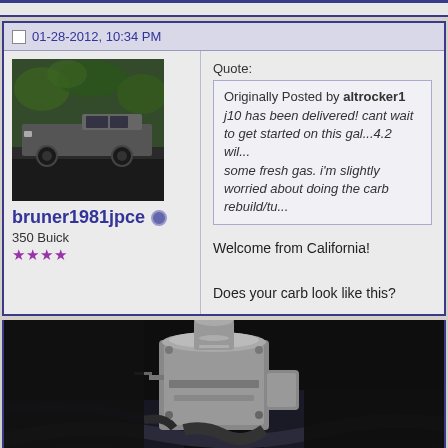01-28-2012, 10:34 PM
[Figure (photo): User avatar showing a pickup truck parked outdoors under trees]
bruner1981jpce
350 Buick
★★★★
Quote:
Originally Posted by altrocker1
j10 has been delivered! cant wait to get started on this gal...4.2 will... some fresh gas. i'm slightly worried about doing the carb rebuild/tu...
Welcome from California!

Does your carb look like this?
[Figure (photo): Close-up photo of a carburetor on an engine, showing metal components, hoses and fittings against a dark background]